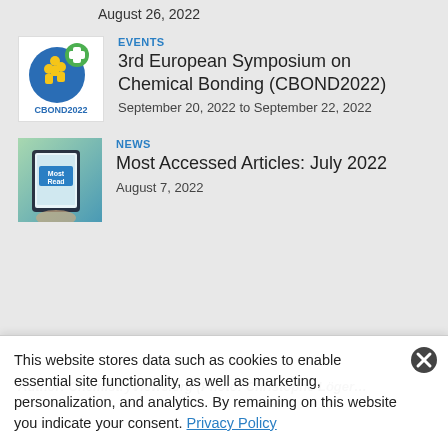August 26, 2022
[Figure (logo): CBOND2022 event logo with blue circle, green plus sign, and yellow figures]
EVENTS
3rd European Symposium on Chemical Bonding (CBOND2022)
September 20, 2022 to September 22, 2022
[Figure (photo): Photo of a tablet displaying 'Most Read' text with bookshelves in background]
NEWS
Most Accessed Articles: July 2022
August 7, 2022
Author: ChemistryViews.org (Photo: Christophe Löger…
This website stores data such as cookies to enable essential site functionality, as well as marketing, personalization, and analytics. By remaining on this website you indicate your consent. Privacy Policy